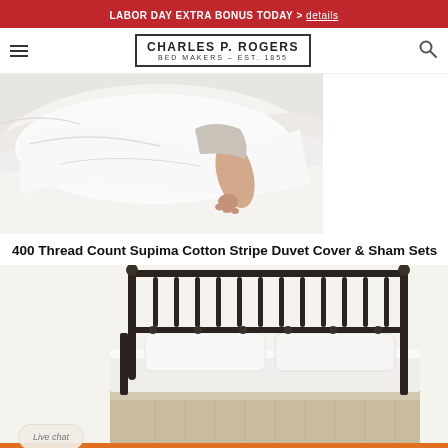LABOR DAY EXTRA BONUS TODAY > details
CHARLES P. ROGERS BED MAKERS – EST. 1855
[Figure (photo): Close-up photo of white bedding with a person's bare foot visible among crumpled white sheets and duvet]
400 Thread Count Supima Cotton Stripe Duvet Cover & Sham Sets
[Figure (photo): Photo of a metal bed frame with dark wrought-iron spindle headboard, white mattress with pillows, and a beige skirted bed base]
Live chat